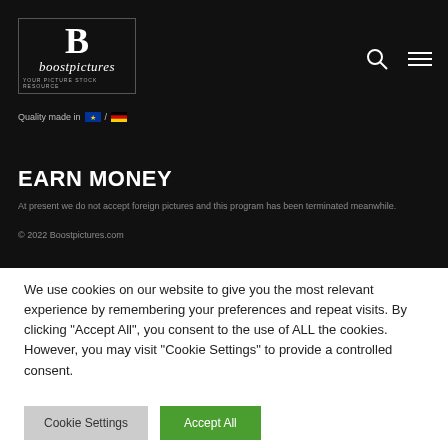[Figure (logo): Boostpictures logo with large B and italic script text, tagline YOUR PICTURE STOCK RESOURCE]
Quality made in 🇪🇺 / 🇩🇪
EARN MONEY
At present we do not accept foreign pictures and this program has been terminated meanwhile.
© 2022 Boostpictures.com
We use cookies on our website to give you the most relevant experience by remembering your preferences and repeat visits. By clicking "Accept All", you consent to the use of ALL the cookies. However, you may visit "Cookie Settings" to provide a controlled consent.
Cookie Settings | Accept All